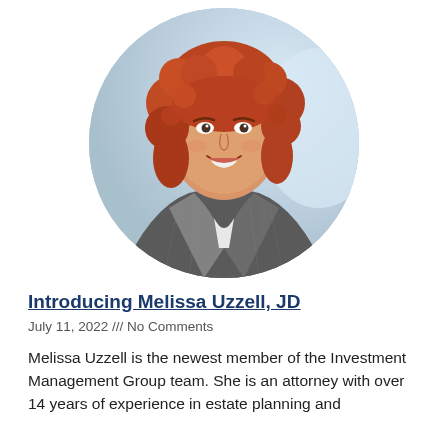[Figure (photo): Circular cropped professional headshot of Melissa Uzzell, JD. Woman with curly red hair, smiling, wearing a gray pinstripe blazer over a white top. Light blue/white blurred background.]
Introducing Melissa Uzzell, JD
July 11, 2022 /// No Comments
Melissa Uzzell is the newest member of the Investment Management Group team. She is an attorney with over 14 years of experience in estate planning and